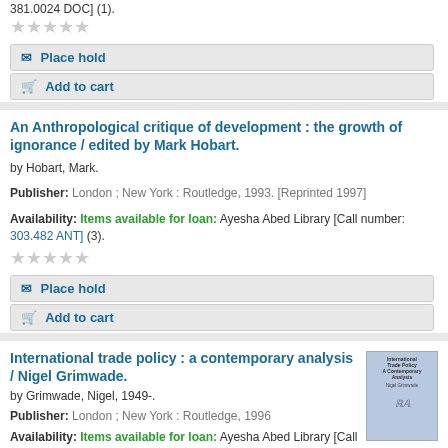381.0024 DOC] (1).
★★★★★ (stars rating)
Place hold
Add to cart
An Anthropological critique of development : the growth of ignorance / edited by Mark Hobart.
by Hobart, Mark.
Publisher: London ; New York : Routledge, 1993. [Reprinted 1997]
Availability: Items available for loan: Ayesha Abed Library [Call number: 303.482 ANT] (3).
★★★★★ (stars rating)
Place hold
Add to cart
International trade policy : a contemporary analysis / Nigel Grimwade.
by Grimwade, Nigel, 1949-.
Publisher: London ; New York : Routledge, 1996
Availability: Items available for loan: Ayesha Abed Library [Call number: 382.3 GRI] (1).
★★★★★ (stars rating)